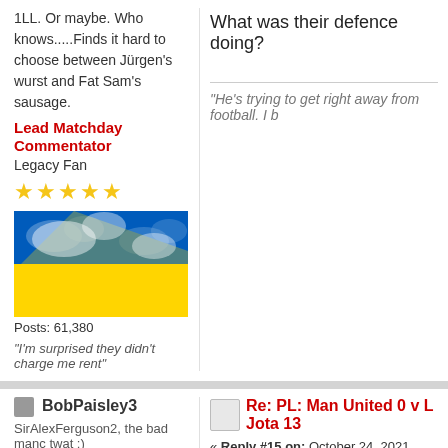1LL. Or maybe. Who knows.....Finds it hard to choose between Jürgen's wurst and Fat Sam's sausage.
Lead Matchday Commentator
Legacy Fan
[Figure (photo): Ukrainian flag waving in the sky]
Posts: 61,380
"I'm surprised they didn't charge me rent"
What was their defence doing?
"He's trying to get right away from football. I b
BobPaisley3
SirAlexFerguson2, the bad manc twat :)
Legacy Fan
[Figure (photo): Fabinho in Liverpool red kit]
Posts: 11,372
Legacy fan
Re: PL: Man United 0 v L Jota 13
« Reply #15 on: October 24, 2021, 04:4
16 They probe down our right and hooked over the top. Goal kick.